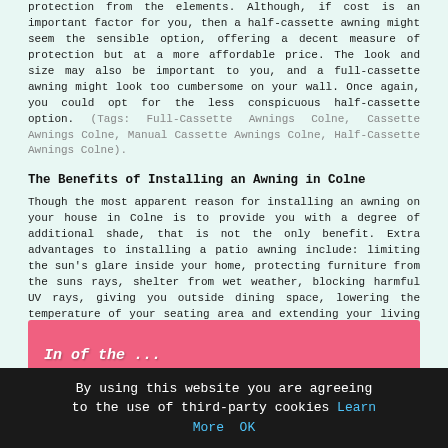protection from the elements. Although, if cost is an important factor for you, then a half-cassette awning might seem the sensible option, offering a decent measure of protection but at a more affordable price. The look and size may also be important to you, and a full-cassette awning might look too cumbersome on your wall. Once again, you could opt for the less conspicuous half-cassette option. (Tags: Full-Cassette Awnings Colne, Cassette Awnings Colne, Manual Cassette Awnings Colne, Half-Cassette Awnings Colne).
The Benefits of Installing an Awning in Colne
Though the most apparent reason for installing an awning on your house in Colne is to provide you with a degree of additional shade, that is not the only benefit. Extra advantages to installing a patio awning include: limiting the sun's glare inside your home, protecting furniture from the suns rays, shelter from wet weather, blocking harmful UV rays, giving you outside dining space, lowering the temperature of your seating area and extending your living space.
[Figure (other): Pink/salmon colored banner section at the bottom of the content area with italic bold white text partially visible]
By using this website you are agreeing to the use of third-party cookies Learn More  OK